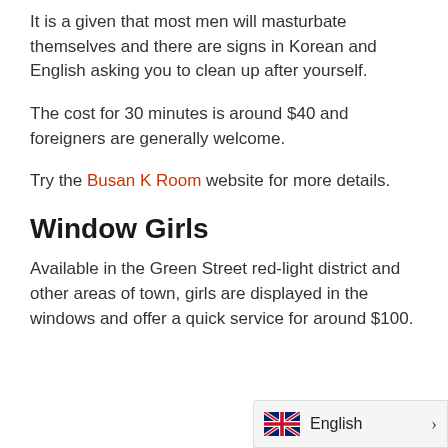It is a given that most men will masturbate themselves and there are signs in Korean and English asking you to clean up after yourself.
The cost for 30 minutes is around $40 and foreigners are generally welcome.
Try the Busan K Room website for more details.
Window Girls
Available in the Green Street red-light district and other areas of town, girls are displayed in the windows and offer a quick service for around $100.
[Figure (other): Language selector widget showing UK flag and 'English' label with a chevron arrow]